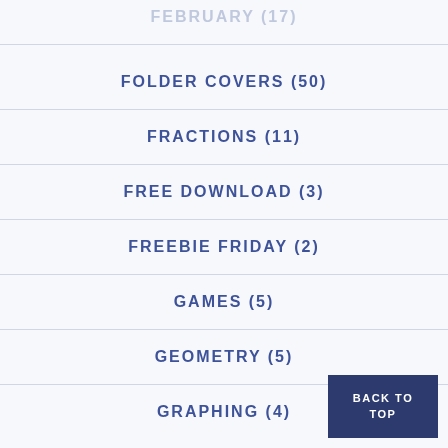[Figure (other): Hamburger menu icon with three horizontal lines]
FEBRUARY (17)
FOLDER COVERS (50)
FRACTIONS (11)
FREE DOWNLOAD (3)
FREEBIE FRIDAY (2)
GAMES (5)
GEOMETRY (5)
GRAPHING (4)
BACK TO TOP